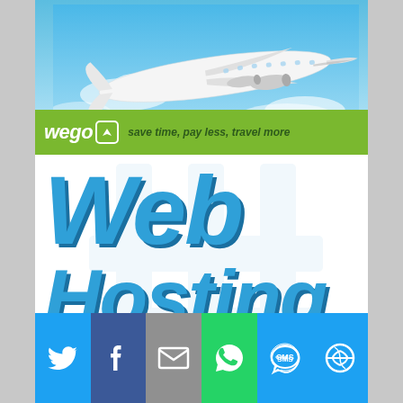[Figure (photo): Wego travel advertisement banner showing a large commercial airplane flying against a blue sky with clouds. The bottom features a green bar with the Wego logo and tagline 'save time, pay less, travel more']
Web Hosting
SOLUTION
[Figure (infographic): Social sharing bar with six buttons: Twitter (blue bird icon), Facebook (dark blue F icon), Email (grey envelope icon), WhatsApp (green phone/chat icon), SMS (blue SMS icon), and Share/Other (blue circular arrow icon)]